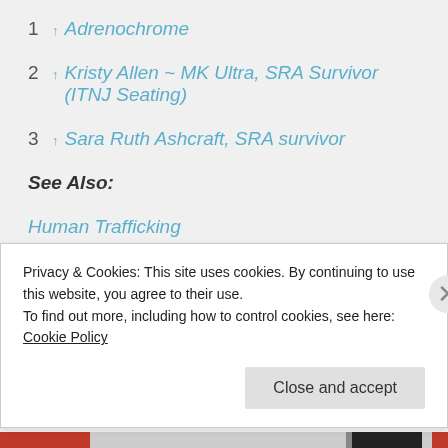1 ↑ Adrenochrome
2 ↑ Kristy Allen ~ MK Ultra, SRA Survivor (ITNJ Seating)
3 ↑ Sara Ruth Ashcraft, SRA survivor
See Also:
Human Trafficking
Privacy & Cookies: This site uses cookies. By continuing to use this website, you agree to their use. To find out more, including how to control cookies, see here: Cookie Policy
Close and accept